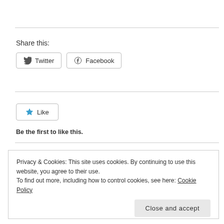Share this:
[Figure (other): Twitter share button and Facebook share button]
[Figure (other): Like button with star icon; text: Be the first to like this.]
Be the first to like this.
Privacy & Cookies: This site uses cookies. By continuing to use this website, you agree to their use.
To find out more, including how to control cookies, see here: Cookie Policy
Close and accept